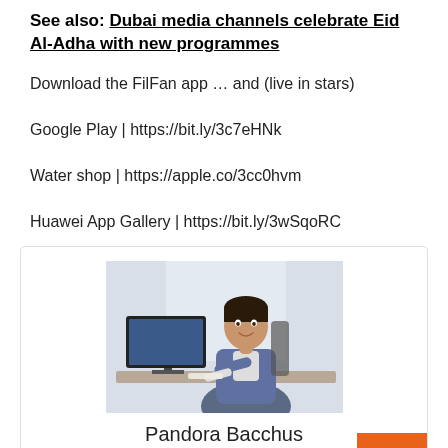See also: Dubai media channels celebrate Eid Al-Adha with new programmes
Download the FilFan app … and (live in stars)
Google Play | https://bit.ly/3c7eHNk
Water shop | https://apple.co/3cc0hvm
Huawei App Gallery | https://bit.ly/3wSqoRC
[Figure (photo): Profile photo of Pandora Bacchus - a person sitting at a desk with a computer monitor]
Pandora Bacchus
"Coffee evangelist. Alcohol fanatic. Hardcore creator. Infuriatingly humble zombie ninja. Writer. Introvert. Music